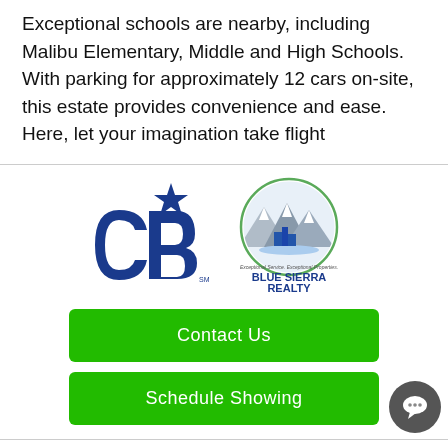Exceptional schools are nearby, including Malibu Elementary, Middle and High Schools. With parking for approximately 12 cars on-site, this estate provides convenience and ease. Here, let your imagination take flight
[Figure (logo): Coldwell Banker Blue Sierra Realty logo — CB star logo on left, Blue Sierra Realty mountain/city circular logo on right with tagline 'Exceptional Service. Exceptional Properties.']
Contact Us
Schedule Showing